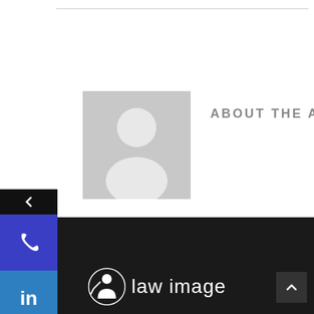[Figure (illustration): Gray placeholder avatar image with a person silhouette icon]
ABOUT THE AUTHOR
[Figure (infographic): Left sidebar with navigation buttons: back arrow (black), phone icon (dark blue/purple), LinkedIn 'in' icon (blue), and alert/notification icon (red)]
[Figure (logo): Law Image logo with white icon and 'law image' text on dark background]
[Figure (other): Scroll-to-top button (dark gray with up arrow) in bottom right corner]